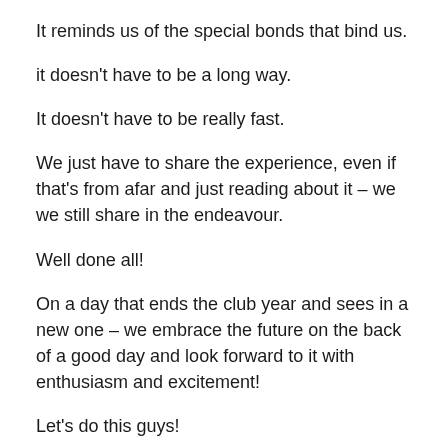It reminds us of the special bonds that bind us.
it doesn't have to be a long way.
It doesn't have to be really fast.
We just have to share the experience, even if that's from afar and just reading about it – we we still share in the endeavour.
Well done all!
On a day that ends the club year and sees in a new one – we embrace the future on the back of a good day and look forward to it with enthusiasm and excitement!
Let's do this guys!
#lovethisclub